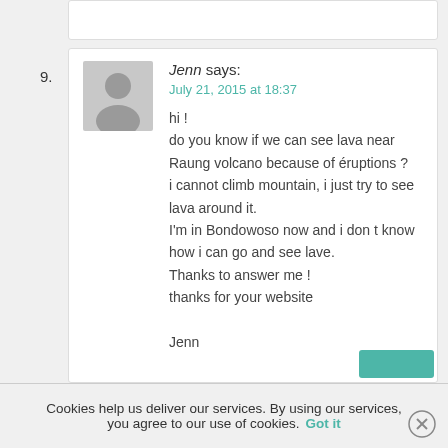[Figure (illustration): Top partial white card/comment box]
9.
[Figure (illustration): Grey avatar placeholder silhouette icon]
Jenn says:
July 21, 2015 at 18:37
hi !
do you know if we can see lava near Raung volcano because of éruptions ?
i cannot climb mountain, i just try to see lava around it.
I'm in Bondowoso now and i don t know how i can go and see lave.
Thanks to answer me !
thanks for your website

Jenn
Cookies help us deliver our services. By using our services, you agree to our use of cookies. Got it